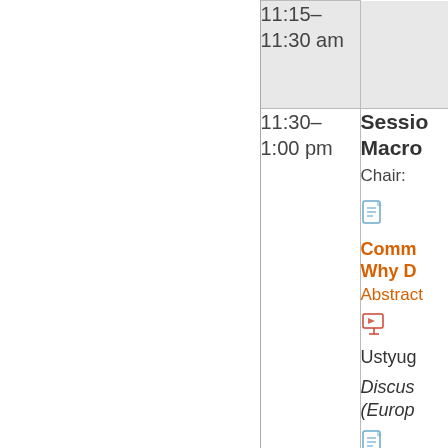| (blank) | Time | Session Content |
| --- | --- | --- |
|  | 11:15–11:30 am |  |
|  | 11:30–1:00 pm | Session: Macro...
Chair: ...
[doc icon]
Comm...
Why D...
Abstract...
[pres icon]
Ustyug...
Discus...
(Europ...
[doc icon] |